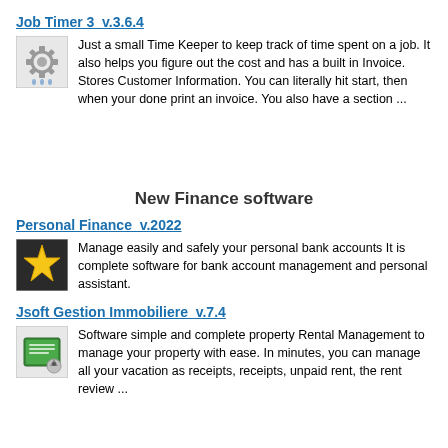Job Timer 3  v.3.6.4
Just a small Time Keeper to keep track of time spent on a job. It also helps you figure out the cost and has a built in Invoice. Stores Customer Information. You can literally hit start, then when your done print an invoice. You also have a section ...
New Finance software
Personal Finance  v.2022
Manage easily and safely your personal bank accounts It is complete software for bank account management and personal assistant.
Jsoft Gestion Immobiliere  v.7.4
Software simple and complete property Rental Management to manage your property with ease. In minutes, you can manage all your vacation as receipts, receipts, unpaid rent, the rent review ...